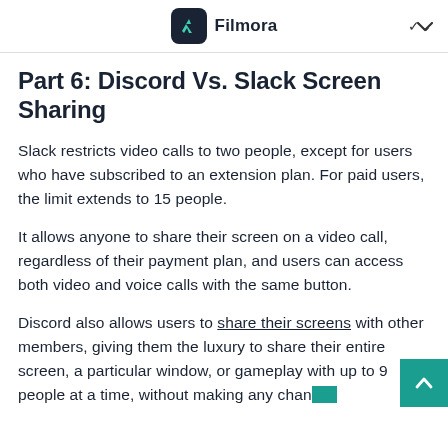Filmora
Part 6: Discord Vs. Slack Screen Sharing
Slack restricts video calls to two people, except for users who have subscribed to an extension plan. For paid users, the limit extends to 15 people.
It allows anyone to share their screen on a video call, regardless of their payment plan, and users can access both video and voice calls with the same button.
Discord also allows users to share their screens with other members, giving them the luxury to share their entire screen, a particular window, or gameplay with up to 9 people at a time, without making any changes